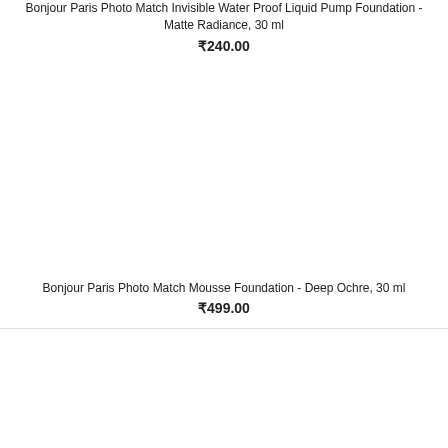Bonjour Paris Photo Match Invisible Water Proof Liquid Pump Foundation - Matte Radiance, 30 ml
₹240.00
Bonjour Paris Photo Match Mousse Foundation - Deep Ochre, 30 ml
₹499.00